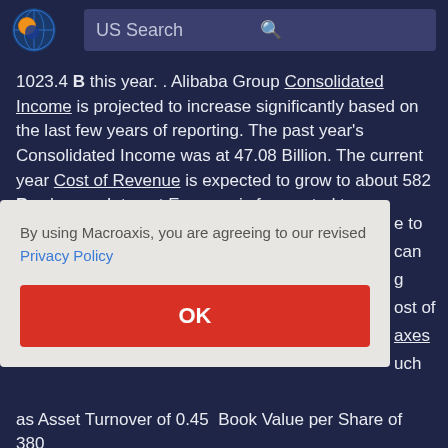[Figure (logo): Macroaxis globe logo with orange and blue colors]
US Search
1023.4 B this year. . Alibaba Group Consolidated Income is projected to increase significantly based on the last few years of reporting. The past year's Consolidated Income was at 47.08 Billion. The current year Cost of Revenue is expected to grow to about 582 B, whereas Interest Expense is forecasted to
By using Macroaxis, you are agreeing to our revised Privacy Policy
OK
e to can g ost of axes uch
as Asset Turnover of 0.45  Book Value per Share of 380